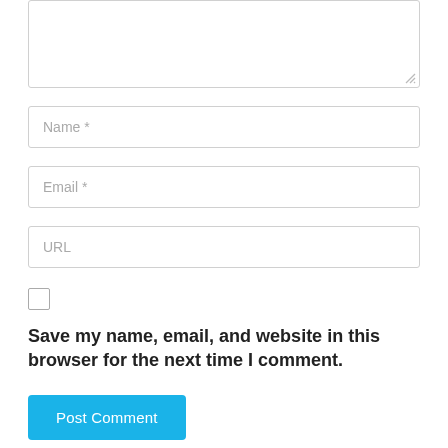[Figure (screenshot): A comment form textarea (partially visible, top cut off) with a resize handle at bottom-right corner]
Name *
Email *
URL
[Figure (screenshot): A checkbox (unchecked)]
Save my name, email, and website in this browser for the next time I comment.
Post Comment